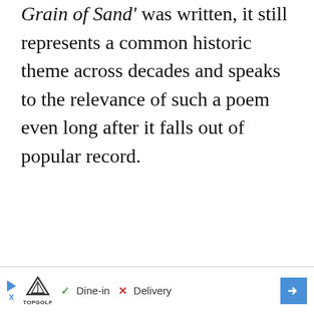Grain of Sand' was written, it still represents a common historic theme across decades and speaks to the relevance of such a poem even long after it falls out of popular record.
[Figure (other): Advertisement banner for Topgolf showing a play button, Topgolf logo, checkmark with 'Dine-in', X with 'Delivery', and a blue directional arrow button]